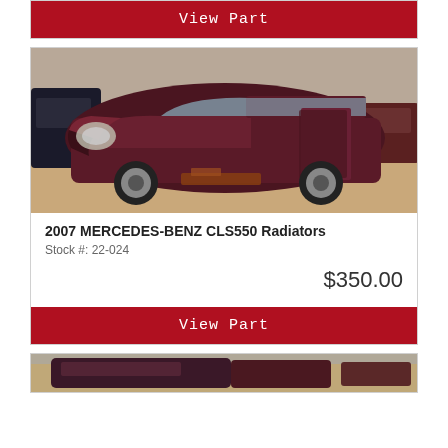View Part
[Figure (photo): Wrecked 2007 Mercedes-Benz CLS550 in dark red/maroon color in a salvage yard, front and passenger side damage visible, door open]
2007 MERCEDES-BENZ CLS550 Radiators
Stock #: 22-024
$350.00
View Part
[Figure (photo): Partial view of another wrecked vehicle in a salvage yard, bottom of page]